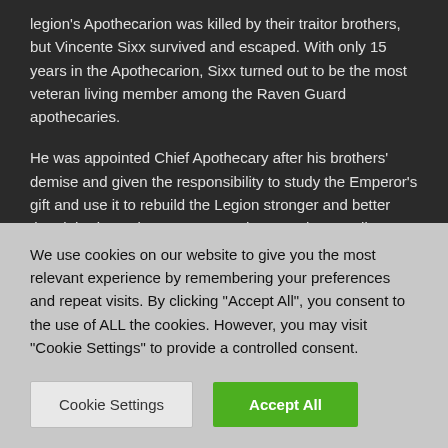legion's Apothecarion was killed by their traitor brothers, but Vincente Sixx survived and escaped. With only 15 years in the Apothecarion, Sixx turned out to be the most veteran living member among the Raven Guard apothecaries.
He was appointed Chief Apothecary after his brothers' demise and given the responsibility to study the Emperor's gift and use it to rebuild the Legion stronger and better than it had ever been. However, he was about to discover that the conspirators had been planning the Raven Guard's destruction for a long time.
[Figure (screenshot): Video game screenshot showing armored Space Marine figures in a winter/grey environment with HUD elements including health bar and icons in the top left]
We use cookies on our website to give you the most relevant experience by remembering your preferences and repeat visits. By clicking "Accept All", you consent to the use of ALL the cookies. However, you may visit "Cookie Settings" to provide a controlled consent.
Cookie Settings
Accept All